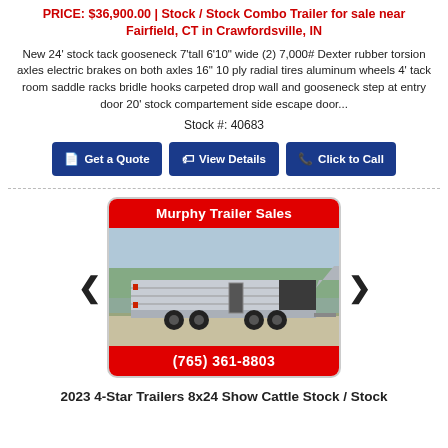PRICE: $36,900.00 | Stock / Stock Combo Trailer for sale near Fairfield, CT in Crawfordsville, IN
New 24' stock tack gooseneck 7'tall 6'10" wide (2) 7,000# Dexter rubber torsion axles electric brakes on both axles 16" 10 ply radial tires aluminum wheels 4' tack room saddle racks bridle hooks carpeted drop wall and gooseneck step at entry door 20' stock compartement side escape door...
Stock #: 40683
Get a Quote | View Details | Click to Call
[Figure (photo): Murphy Trailer Sales dealer card showing a silver 4-Star stock/combo trailer on a parking lot. Red header reads 'Murphy Trailer Sales' and red footer reads '(765) 361-8803'.]
2023 4-Star Trailers 8x24 Show Cattle Stock / Stock